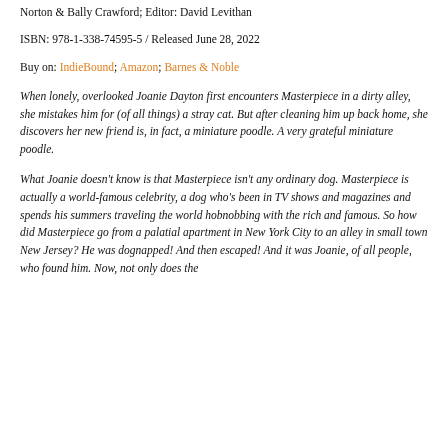Norton & Bally Crawford; Editor: David Levithan
ISBN: 978-1-338-74595-5 / Released June 28, 2022
Buy on: IndieBound; Amazon; Barnes & Noble
When lonely, overlooked Joanie Dayton first encounters Masterpiece in a dirty alley, she mistakes him for (of all things) a stray cat. But after cleaning him up back home, she discovers her new friend is, in fact, a miniature poodle. A very grateful miniature poodle.
What Joanie doesn’t know is that Masterpiece isn’t any ordinary dog. Masterpiece is actually a world-famous celebrity, a dog who’s been in TV shows and magazines and spends his summers traveling the world hobnobbing with the rich and famous. So how did Masterpiece go from a palatial apartment in New York City to an alley in small town New Jersey? He was dognapped! And then escaped! And it was Joanie, of all people, who found him. Now, not only does the